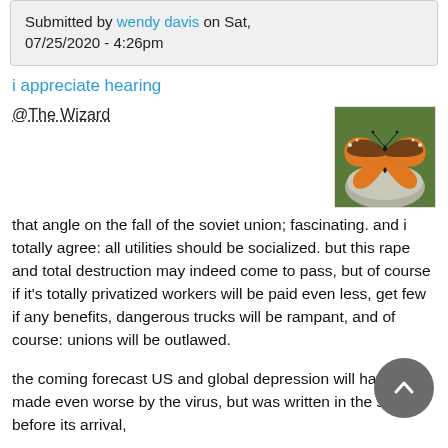Submitted by wendy davis on Sat, 07/25/2020 - 4:26pm
i appreciate hearing
@The Wizard
[Figure (photo): A monarch butterfly resting on a rock surrounded by green foliage]
that angle on the fall of the soviet union; fascinating. and i totally agree: all utilities should be socialized. but this rape and total destruction may indeed come to pass, but of course if it's totally privatized workers will be paid even less, get few if any benefits, dangerous trucks will be rampant, and of course: unions will be outlawed.
the coming forecast US and global depression will have been made even worse by the virus, but was written in the stars before its arrival,